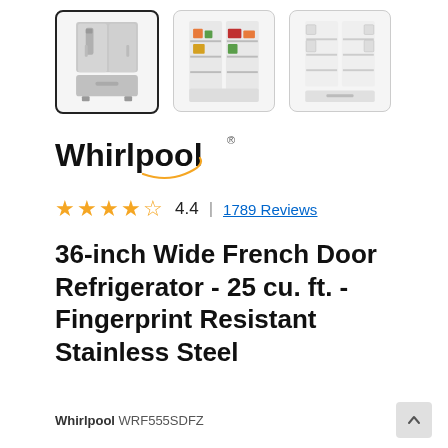[Figure (photo): Three product thumbnail images of a Whirlpool French Door Refrigerator: first shows exterior stainless steel front (selected/highlighted), second shows interior with food, third shows interior empty with doors open.]
[Figure (logo): Whirlpool brand logo text with orange swirl accent]
4.4 | 1789 Reviews
36-inch Wide French Door Refrigerator - 25 cu. ft. - Fingerprint Resistant Stainless Steel
Whirlpool WRF555SDFZ